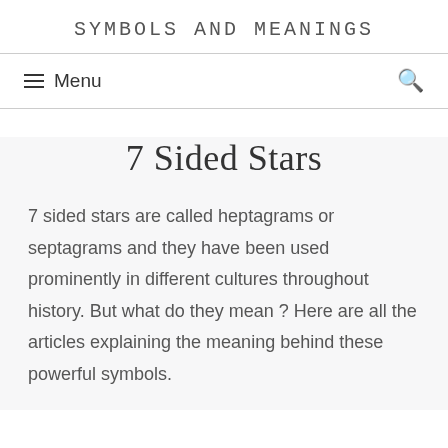SYMBOLS AND MEANINGS
7 Sided Stars
7 sided stars are called heptagrams or septagrams and they have been used prominently in different cultures throughout history. But what do they mean ? Here are all the articles explaining the meaning behind these powerful symbols.